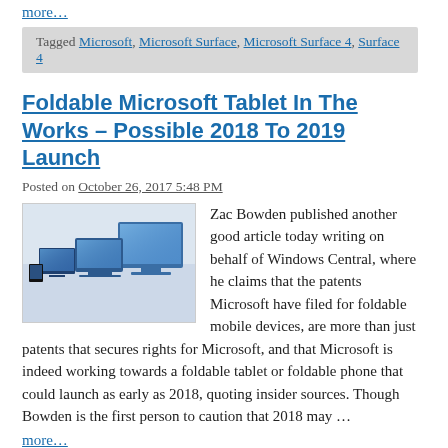more…
Tagged Microsoft, Microsoft Surface, Microsoft Surface 4, Surface 4
Foldable Microsoft Tablet In The Works – Possible 2018 To 2019 Launch
Posted on October 26, 2017 5:48 PM
[Figure (photo): Multiple Microsoft Surface devices lined up showing tablets and laptops]
Zac Bowden published another good article today writing on behalf of Windows Central, where he claims that the patents Microsoft have filed for foldable mobile devices, are more than just patents that secures rights for Microsoft, and that Microsoft is indeed working towards a foldable tablet or foldable phone that could launch as early as 2018, quoting insider sources. Though Bowden is the first person to caution that 2018 may …
more…
Tagged Foldable Tablets, Microsoft, Microsoft Surface
New Surface Book 2 To Start From